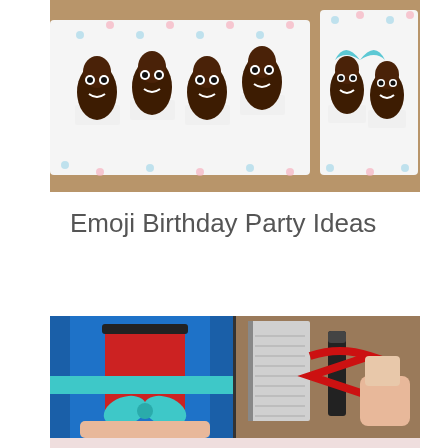[Figure (photo): Rows of chocolate poop emoji cupcakes with candy eyes and white smile decorations, arranged on a polka-dot tray on a wooden table surface.]
Emoji Birthday Party Ideas
[Figure (photo): Two side-by-side photos: left shows a red cup wrapped with a teal/turquoise ribbon bow being held by a hand against a blue background; right shows a hand wrapping a red ribbon around a black marker/pen with a notebook in the background.]